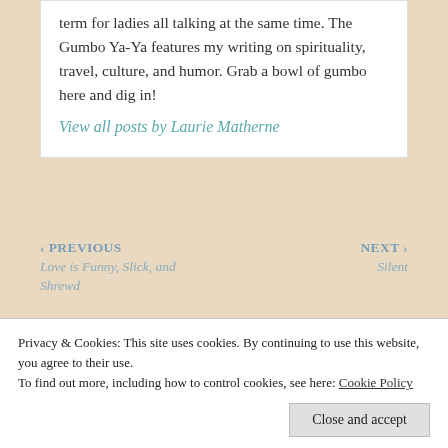term for ladies all talking at the same time. The Gumbo Ya-Ya features my writing on spirituality, travel, culture, and humor. Grab a bowl of gumbo here and dig in!
View all posts by Laurie Matherne
‹ PREVIOUS Love is Funny, Slick, and Shrewd
NEXT › Silent
Privacy & Cookies: This site uses cookies. By continuing to use this website, you agree to their use. To find out more, including how to control cookies, see here: Cookie Policy
Close and accept